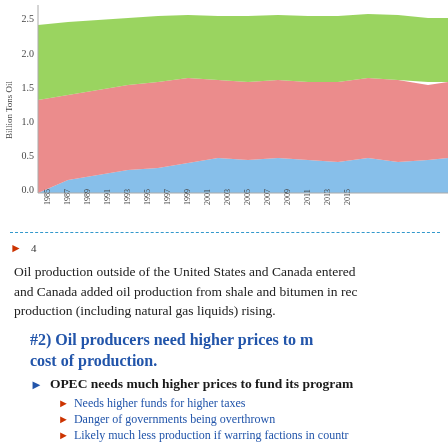[Figure (area-chart): Stacked area chart showing oil production in billion tons from 1985 to 2015. Multiple colored bands (blue, red/pink, green) stacked, reaching approximately 2.5 billion tons by 2015.]
Oil production outside of the United States and Canada entered and Canada added oil production from shale and bitumen in rec production (including natural gas liquids) rising.
#2) Oil producers need higher prices to meet cost of production.
OPEC needs much higher prices to fund its programs
Needs higher funds for higher taxes
Danger of governments being overthrown
Likely much less production if warring factions in country
Both US and Canada have added oil from shale and t